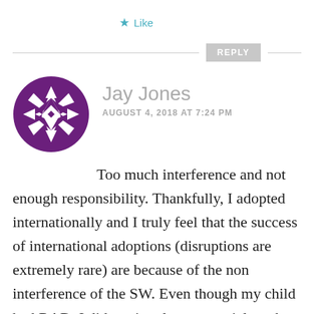★ Like
REPLY
[Figure (logo): Purple circular avatar with geometric star/quilt pattern in white, used as commenter profile image for Jay Jones]
Jay Jones
AUGUST 4, 2018 AT 7:24 PM
Too much interference and not enough responsibility. Thankfully, I adopted internationally and I truly feel that the success of international adoptions (disruptions are extremely rare) are because of the non interference of the SW. Even though my child had RAD, I did not involve any social workers but only one post